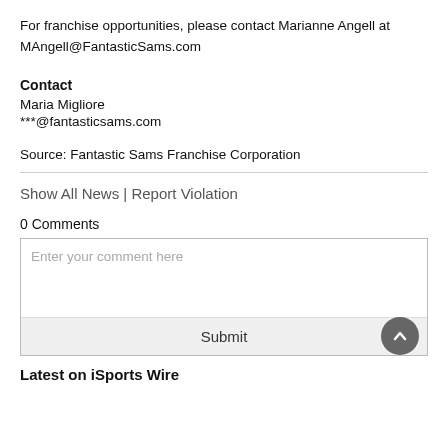For franchise opportunities, please contact Marianne Angell at MAngell@FantasticSams.com
Contact
Maria Migliore
***@fantasticsams.com
Source: Fantastic Sams Franchise Corporation
Show All News | Report Violation
0 Comments
Enter your comment here
Submit
Latest on iSports Wire